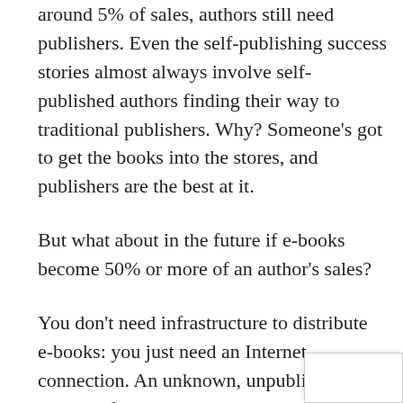around 5% of sales, authors still need publishers. Even the self-publishing success stories almost always involve self-published authors finding their way to traditional publishers. Why? Someone's got to get the books into the stores, and publishers are the best at it.
But what about in the future if e-books become 50% or more of an author's sales?
You don't need infrastructure to distribute e-books: you just need an Internet connection. An unknown, unpublished Author of the Future could do deals with the Amazons and B&Ns and Sonys of the world (or possible a single e-book